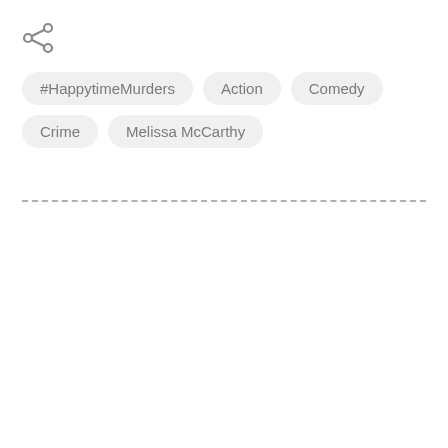[Figure (other): Share icon (three connected circles forming a share symbol)]
#HappytimeMurders
Action
Comedy
Crime
Melissa McCarthy